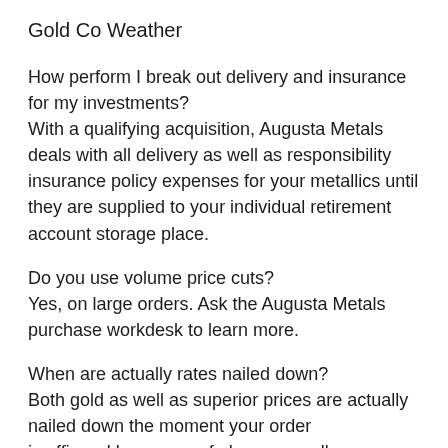Gold Co Weather
How perform I break out delivery and insurance for my investments?
With a qualifying acquisition, Augusta Metals deals with all delivery as well as responsibility insurance policy expenses for your metallics until they are supplied to your individual retirement account storage place.
Do you use volume price cuts?
Yes, on large orders. Ask the Augusta Metals purchase workdesk to learn more.
When are actually rates nailed down?
Both gold as well as superior prices are actually nailed down the moment your order is affirmed by means of phone as well as